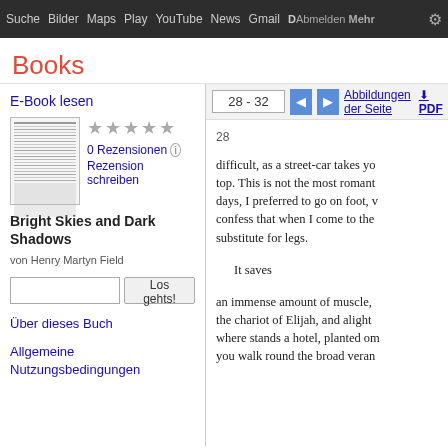Suche   Bilder   Maps   Play   YouTube   News   Gmail   D  Abmelden  Mehr
Books
28 - 32
Abbildungen der Seite   PDF   EPUB
E-Book lesen
[Figure (illustration): Thumbnail of book cover page]
0 Rezensionen
Rezension schreiben
Bright Skies and Dark Shadows
von Henry Martyn Field
Los gehts!
Über dieses Buch
Allgemeine Nutzungsbedingungen
28
difficult, as a street-car takes yo top. This is not the most romant days, I preferred to go on foot, v confess that when I come to the substitute for legs.
It saves
an immense amount of muscle, the chariot of Elijah, and alight where stands a hotel, planted om you walk round the broad veran